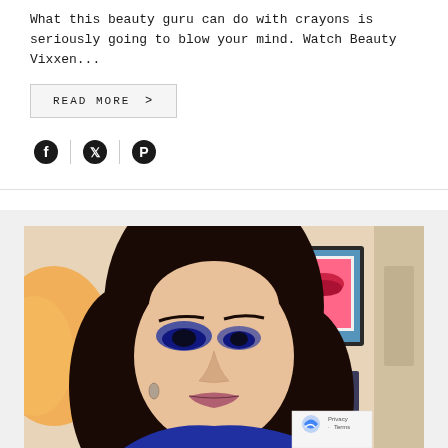What this beauty guru can do with crayons is seriously going to blow your mind. Watch Beauty Vixxen...
READ MORE >
[Figure (other): Social media share icons: Facebook, Twitter (X), Pinterest separated by vertical dividers]
[Figure (photo): A woman with dark hair and dramatic blue eye makeup (smoky eye) looking downward, touching her neck with her hand. Background shows room decor including framed lip art print. A reCAPTCHA privacy badge is visible in the bottom right corner.]